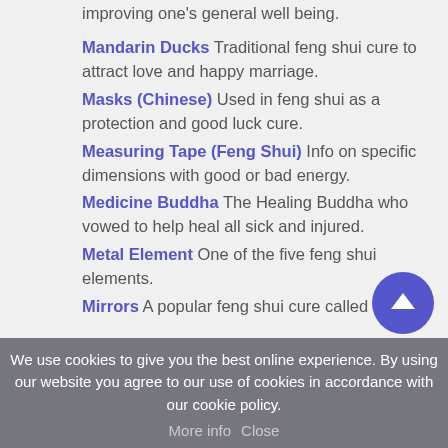improving one's general well being.
Mandarin Ducks Traditional feng shui cure to attract love and happy marriage.
Masks (Chinese) Used in feng shui as a protection and good luck cure.
Measuring Tape (Feng Shui) Info on specific dimensions with good or bad energy.
Medicine Buddha The Healing Buddha who vowed to help heal all sick and injured.
Metal Element One of the five feng shui elements.
Mirrors A popular feng shui cure called
We use cookies to give you the best online experience. By using our website you agree to our use of cookies in accordance with our cookie policy. More info Close